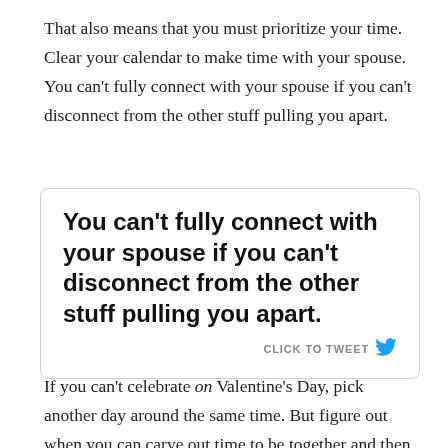That also means that you must prioritize your time. Clear your calendar to make time with your spouse. You can't fully connect with your spouse if you can't disconnect from the other stuff pulling you apart.
[Figure (other): Tweet quote box with text: 'You can't fully connect with your spouse if you can't disconnect from the other stuff pulling you apart.' with a 'CLICK TO TWEET' button and Twitter bird icon]
If you can't celebrate on Valentine's Day, pick another day around the same time. But figure out when you can carve out time to be together and then make that happen.